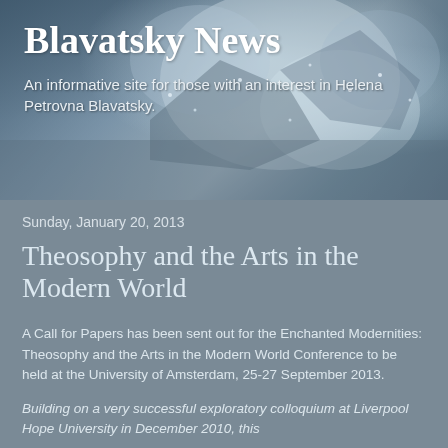[Figure (photo): Background header image showing a stormy or cloudy blue-grey sky with what appears to be snow or water droplets, giving a moody atmospheric look]
Blavatsky News
An informative site for those with an interest in Helena Petrovna Blavatsky.
Sunday, January 20, 2013
Theosophy and the Arts in the Modern World
A Call for Papers has been sent out for the Enchanted Modernities: Theosophy and the Arts in the Modern World Conference to be held at the University of Amsterdam, 25-27 September 2013.
Building on a very successful exploratory colloquium at Liverpool Hope University in December 2010, this